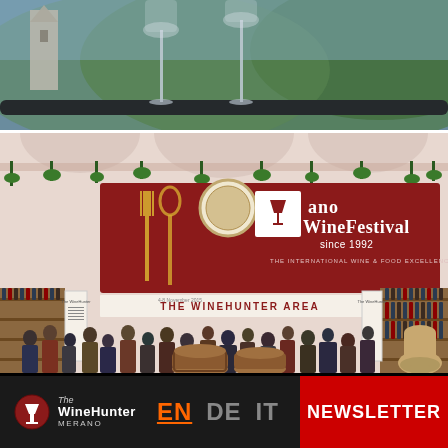[Figure (photo): Top portion: blurred outdoor scenery with mountains and greenery, wine glasses in foreground on dark table edge]
[Figure (photo): Main festival hall photo: Merano WineFestival since 1992 banner in dark red with fork and WineHunter logo, THE WINEHUNTER AREA sign below, large crowd of visitors, wine bottles on shelves, wooden barrels]
EN DE IT
NEWSLETTER